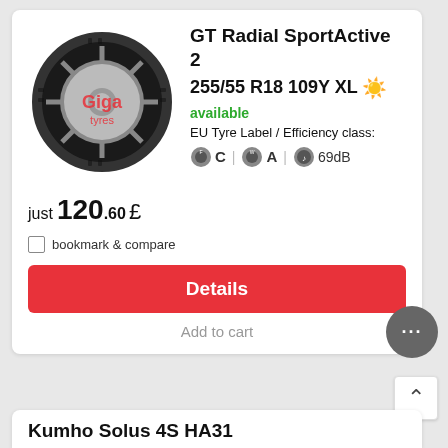[Figure (photo): Product photo of GT Radial SportActive 2 tire with Giga Tyres watermark overlay]
GT Radial SportActive 2
255/55 R18 109Y XL ☀️
available
EU Tyre Label / Efficiency class:
🛞 C | 🛞 A | 🔊 69dB
just 120.60 £
bookmark & compare
Details
Add to cart
Kumho Solus 4S HA31